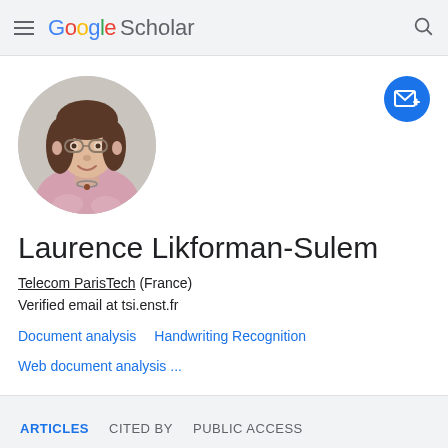Google Scholar
[Figure (photo): Google Scholar profile page for Laurence Likforman-Sulem. Shows a circular profile photo of a woman with glasses and brown hair, wearing a pink top. A blue email/follow button is in the top right.]
Laurence Likforman-Sulem
Telecom ParisTech (France)
Verified email at tsi.enst.fr
Document analysis
Handwriting Recognition
Web document analysis ...
ARTICLES   CITED BY   PUBLIC ACCESS
SORT ▾   CITED BY